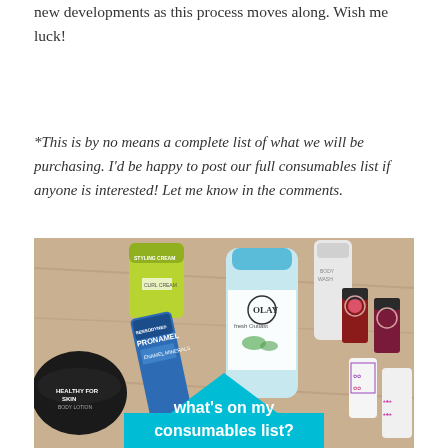new developments as this process moves along. Wish me luck!
*This is by no means a complete list of what we will be purchasing. I'd be happy to post our full consumables list if anyone is interested! Let me know in the comments.
[Figure (photo): A flat-lay photo of various personal care and beauty products including Olay Fresh Outlast body wash, Sensodyne Pronamel toothpaste, a Lush body lotion tub labeled 'Healthy For Skin', a green styling cream bottle, nail polish bottles, and a white bottle. A teal diamond/chevron shape overlays the bottom of the image with the text 'what's on my consumables list?']